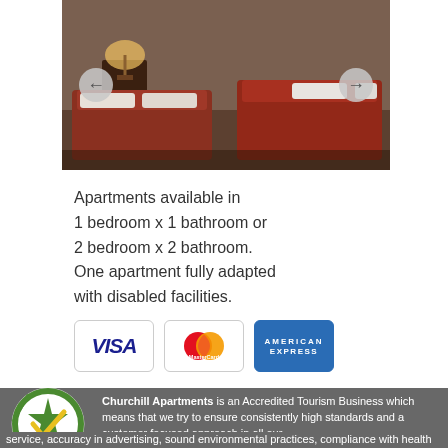[Figure (photo): Hotel/apartment bedroom with red bedding, warm lamp lighting, two single beds with red duvets and white pillows, navigation arrows on left and right]
Apartments available in
1 bedroom x 1 bathroom or
2 bedroom x 2 bathroom.
One apartment fully adapted
with disabled facilities.
[Figure (infographic): Payment card logos: VISA, MasterCard, American Express]
[Figure (logo): Accredited Tourism Business Australia star and tick logo]
Churchill Apartments is an Accredited Tourism Business which means that we try to ensure consistently high standards and a customer focused approach in all our dealings. We believe that our Guests are entitled to expect professional customer service, accuracy in advertising, sound environmental practices, compliance with health and safety standards and that we are